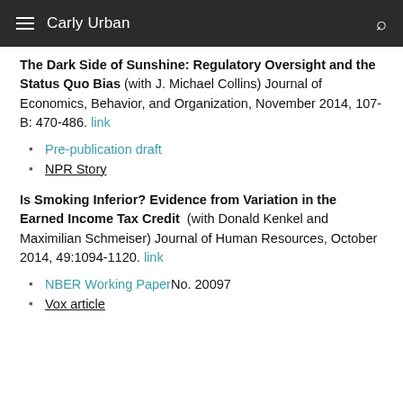Carly Urban
The Dark Side of Sunshine: Regulatory Oversight and the Status Quo Bias (with J. Michael Collins) Journal of Economics, Behavior, and Organization, November 2014, 107-B: 470-486. link
Pre-publication draft
NPR Story
Is Smoking Inferior? Evidence from Variation in the Earned Income Tax Credit (with Donald Kenkel and Maximilian Schmeiser) Journal of Human Resources, October 2014, 49:1094-1120. link
NBER Working Paper No. 20097
Vox article